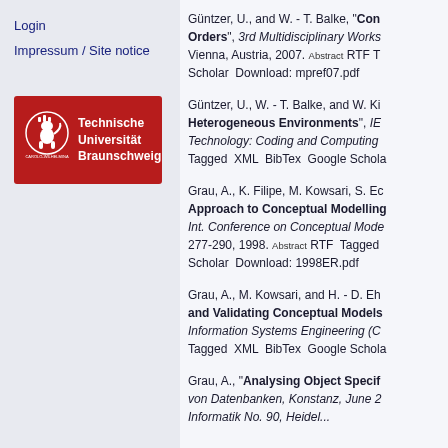Login
Impressum / Site notice
[Figure (logo): Technische Universität Braunschweig logo with red background and white crest]
Güntzer, U., and W. - T. Balke, "Combining Skylines and Partial Orders", 3rd Multidisciplinary Workshop on Advances in Preference Handling, Vienna, Austria, 2007. Abstract RTF Tagged XML BibTex Google Scholar Download: mpref07.pdf
Güntzer, U., W. - T. Balke, and W. Kiessling, "Efficient Computation for Offline Queries with Partially Ordered Preferences in Heterogeneous Environments", IEEE International Conference on Information Technology: Coding and Computing (ITCC), 2003. Tagged XML BibTex Google Scholar
Grau, A., K. Filipe, M. Kowsari, S. Eckstein, R. Pews, and B. Mathiak, "A Pragmatic Approach to Conceptual Modelling of OLAP Security", Int. Conference on Conceptual Modeling (ER), LNCS 1507, pages 277-290, 1998. Abstract RTF Tagged XML BibTex Google Scholar Download: 1998ER.pdf
Grau, A., M. Kowsari, and H. - D. Ehrich, "An Object-Oriented Approach to Specifying and Validating Conceptual Models of Information Systems", Computer-Aided Information Systems Engineering (CAISE), 1997. Tagged XML BibTex Google Scholar
Grau, A., "Analysing Object Specifications using Temporal Logic", Informat. Fachberichte: Tagung von Datenbanken, Konstanz, June 2...